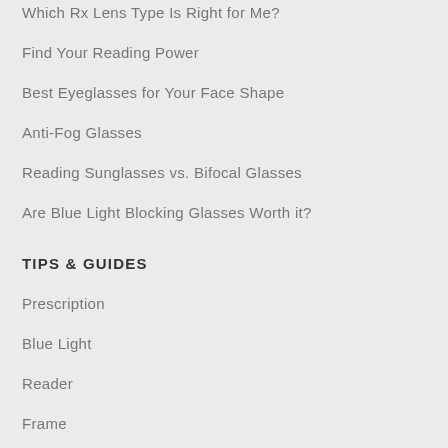Which Rx Lens Type Is Right for Me?
Find Your Reading Power
Best Eyeglasses for Your Face Shape
Anti-Fog Glasses
Reading Sunglasses vs. Bifocal Glasses
Are Blue Light Blocking Glasses Worth it?
TIPS & GUIDES
Prescription
Blue Light
Reader
Frame
Shape
Coll...